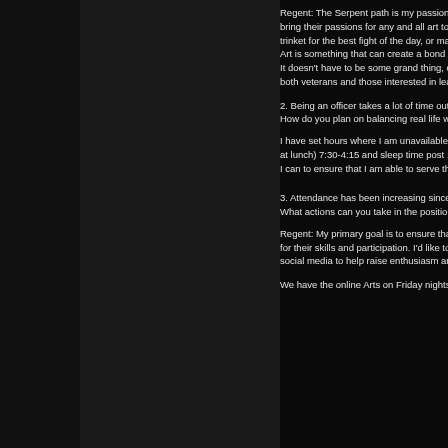Regent: The Serpent path is my passion. bring their passions for any and all art to t trinket for the best fight of the day, or mak Art is something that can create a bond on It doesn't have to be some grand thing, ev both veterans and those interested in lear
2. Being an officer takes a lot of time outsi How do you plan on balancing real life wit
I have set hours where I am unavailable d at lunch) 7:30-4:15 and sleep time post 10 I can to ensure that I am able to serve the
3. Attendance has been increasing since t What actions can you take in the position(
Regent: My primary goal is to ensure that for their skills and participation. I'd like to f social media to help raise enthusiasm aro
We have the online Arts on Friday nights s